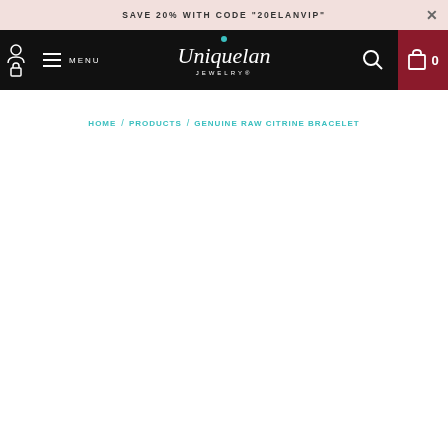SAVE 20% WITH CODE "20ELANVIP"
[Figure (screenshot): Uniquelan Jewelry website navigation bar with logo, menu, search, and cart icons on black background]
HOME / PRODUCTS / GENUINE RAW CITRINE BRACELET